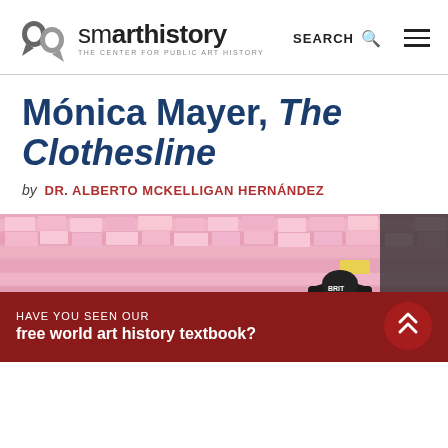smarthistory — THE CENTER FOR PUBLIC ART HISTORY | SEARCH | menu
Mónica Mayer, The Clothesline
by DR. ALBERTO MCKELLIGAN HERNÁNDEZ
[Figure (photo): People viewing a wall covered in pink paper notes, with handwritten text on them, part of Mónica Mayer's artwork The Clothesline]
HAVE YOU SEEN OUR
free world art history textbook?